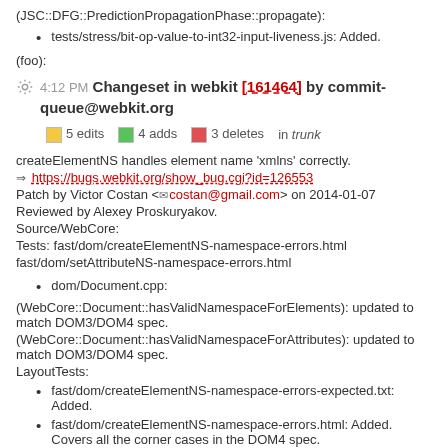(JSC::DFG::PredictionPropagationPhase::propagate):
tests/stress/bit-op-value-to-int32-input-liveness.js: Added.
(foo):
4:12 PM Changeset in webkit [161464] by commit-queue@webkit.org
5 edits  4 adds  3 deletes  in trunk
createElementNS handles element name 'xmlns' correctly.
=> https://bugs.webkit.org/show_bug.cgi?id=126553
Patch by Victor Costan <costan@gmail.com> on 2014-01-07
Reviewed by Alexey Proskuryakov.
Source/WebCore:
Tests: fast/dom/createElementNS-namespace-errors.html
fast/dom/setAttributeNS-namespace-errors.html
dom/Document.cpp:
(WebCore::Document::hasValidNamespaceForElements): updated to match DOM3/DOM4 spec.
(WebCore::Document::hasValidNamespaceForAttributes): updated to match DOM3/DOM4 spec.
LayoutTests:
fast/dom/createElementNS-namespace-errors-expected.txt: Added.
fast/dom/createElementNS-namespace-errors.html: Added. Covers all the corner cases in the DOM4 spec.